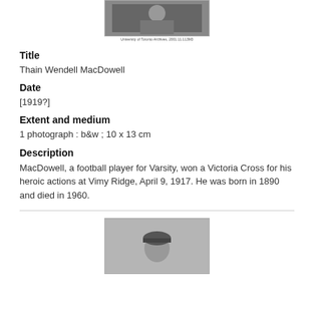[Figure (photo): Black and white photograph of Thain Wendell MacDowell at the top of the page with a caption below it referencing University of Toronto Archives]
Title
Thain Wendell MacDowell
Date
[1919?]
Extent and medium
1 photograph : b&w ; 10 x 13 cm
Description
MacDowell, a football player for Varsity, won a Victoria Cross for his heroic actions at Vimy Ridge, April 9, 1917. He was born in 1890 and died in 1960.
[Figure (photo): Black and white photograph of a person wearing a hat, partially visible at bottom of page]